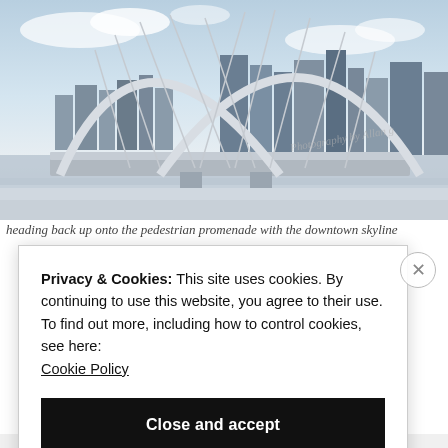[Figure (photo): Photograph of a white arch pedestrian bridge in winter with snow on the ground and a city skyline visible in the background. Watermark text reads 'Photography by Allan g'.]
heading back up onto the pedestrian promenade with the downtown skyline
Privacy & Cookies: This site uses cookies. By continuing to use this website, you agree to their use.
To find out more, including how to control cookies, see here:
Cookie Policy
Close and accept